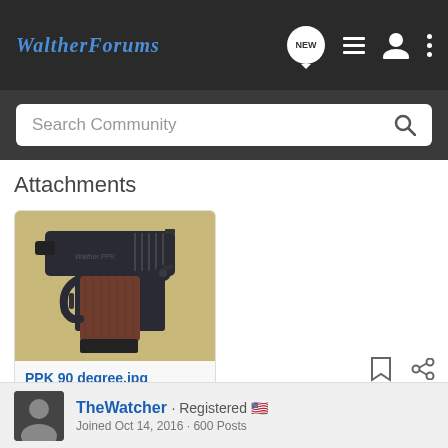WaltherForums
Attachments
[Figure (photo): A Walther PPK semi-automatic pistol with dark blue/black finish and brown wooden grips, photographed from above at a 90-degree angle on a tan leather surface.]
PPK 90 degree.jpg
50.9 KB   Views: 192
TheWatcher · Registered
Joined Oct 14, 2016 · 600 Posts